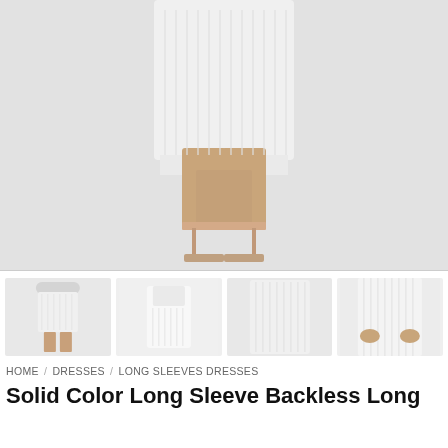[Figure (photo): Main product photo showing lower body of model wearing a white ribbed long sleeve backless dress with nude clear strap heeled sandals against a white background]
[Figure (photo): Thumbnail 1: Full body shot of model in white ribbed long sleeve backless midi dress with heels]
[Figure (photo): Thumbnail 2: Back view showing sheer/backless detail and ribbed skirt of white dress]
[Figure (photo): Thumbnail 3: Front torso view of white ribbed long sleeve dress showing fitted silhouette]
[Figure (photo): Thumbnail 4: Close-up front torso view of white ribbed dress with hands at waist]
HOME / DRESSES / LONG SLEEVES DRESSES
Solid Color Long Sleeve Backless Long